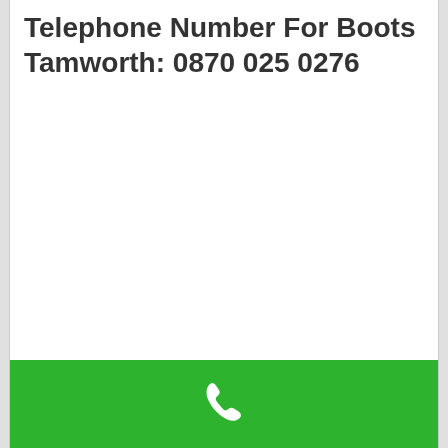Telephone Number For Boots Tamworth: 0870 025 0276
[Figure (illustration): Green call button bar at the bottom with a white telephone handset icon]